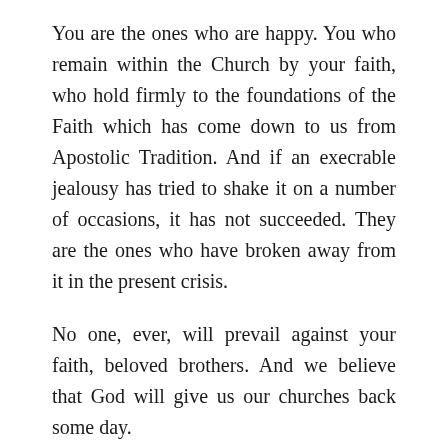You are the ones who are happy. You who remain within the Church by your faith, who hold firmly to the foundations of the Faith which has come down to us from Apostolic Tradition. And if an execrable jealousy has tried to shake it on a number of occasions, it has not succeeded. They are the ones who have broken away from it in the present crisis.
No one, ever, will prevail against your faith, beloved brothers. And we believe that God will give us our churches back some day.
Thus, the more violently they try to occupy the places of worship, the more